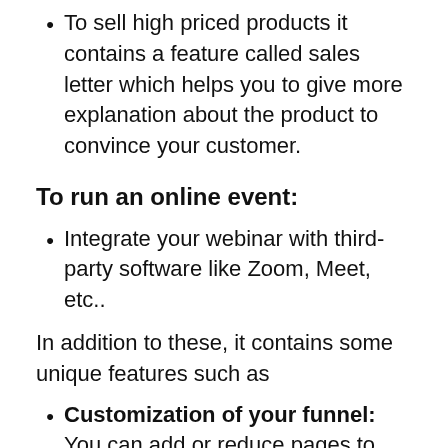To sell high priced products it contains a feature called sales letter which helps you to give more explanation about the product to convince your customer.
To run an online event:
Integrate your webinar with third-party software like Zoom, Meet, etc..
In addition to these, it contains some unique features such as
Customization of your funnel: You can add or reduce pages to your